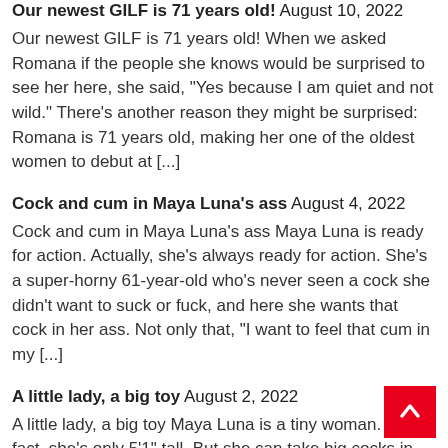Our newest GILF is 71 years old! August 10, 2022 Our newest GILF is 71 years old! When we asked Romana if the people she knows would be surprised to see her here, she said, "Yes because I am quiet and not wild." There's another reason they might be surprised: Romana is 71 years old, making her one of the oldest women to debut at [...]
Cock and cum in Maya Luna's ass August 4, 2022 Cock and cum in Maya Luna's ass Maya Luna is ready for action. Actually, she's always ready for action. She's a super-horny 61-year-old who's never seen a cock she didn't want to suck or fuck, and here she wants that cock in her ass. Not only that, "I want to feel that cum in my [...]
A little lady, a big toy August 2, 2022 A little lady, a big toy Maya Luna is a tiny woman. In fact, she's only 5'1" tall. But she can take big cocks in her mouth, pussy and ass, and here, she takes a big toy deep inside her semi-hairy pussy. She gags on the toy, too, in an excellent blo demonstration. "What's [...]